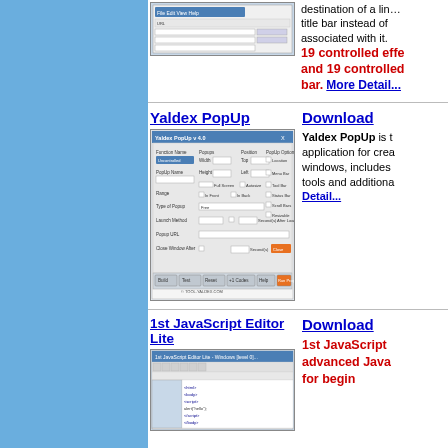[Figure (screenshot): Screenshot of a software dialog window at the top]
destination of a link in the title bar instead of the page associated with it. 19 controlled effects and 19 controlled bar. More Detail...
Yaldex PopUp
Download
[Figure (screenshot): Screenshot of Yaldex PopUp v4.0 application interface]
Yaldex PopUp is the application for creating windows, includes tools and additional Detail...
1st JavaScript Editor Lite
Download
[Figure (screenshot): Screenshot of 1st JavaScript Editor Lite application]
1st JavaScript advanced Java for begin